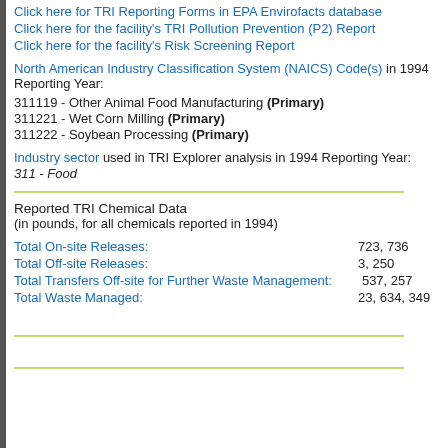Click here for TRI Reporting Forms in EPA Envirofacts database
Click here for the facility's TRI Pollution Prevention (P2) Report
Click here for the facility's Risk Screening Report
North American Industry Classification System (NAICS) Code(s) in 1994 Reporting Year:
311119 - Other Animal Food Manufacturing (Primary)
311221 - Wet Corn Milling (Primary)
311222 - Soybean Processing (Primary)
Industry sector used in TRI Explorer analysis in 1994 Reporting Year:
311 - Food
Reported TRI Chemical Data
(in pounds, for all chemicals reported in 1994)
Total On-site Releases: 723,736
Total Off-site Releases: 3,250
Total Transfers Off-site for Further Waste Management: 537,257
Total Waste Managed: 23,634,349